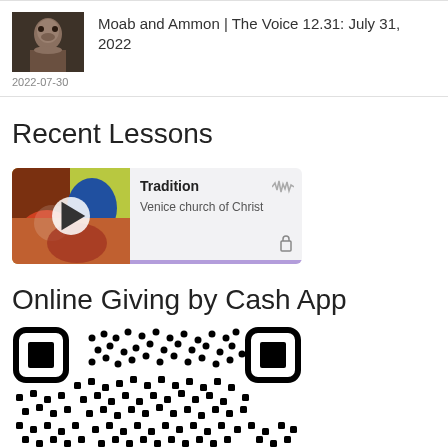[Figure (photo): Thumbnail image of an ancient clay figurine/head for article about Moab and Ammon]
Moab and Ammon | The Voice 12.31: July 31, 2022
2022-07-30
Recent Lessons
[Figure (screenshot): Lesson card with colorful painting thumbnail showing a play button, titled Tradition by Venice church of Christ, with waveform icon and share icon, purple bottom bar]
Online Giving by Cash App
[Figure (other): QR code for online giving via Cash App (partially visible, bottom portion cut off)]